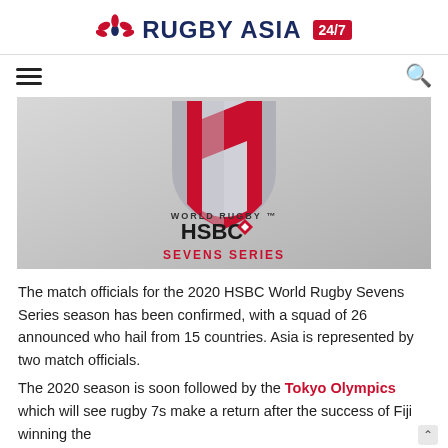RUGBY ASIA 24/7
[Figure (logo): World Rugby HSBC Sevens Series logo on grey gradient background with shield emblem]
The match officials for the 2020 HSBC World Rugby Sevens Series season has been confirmed, with a squad of 26 announced who hail from 15 countries. Asia is represented by two match officials.
The 2020 season is soon followed by the Tokyo Olympics which will see rugby 7s make a return after the success of Fiji winning the